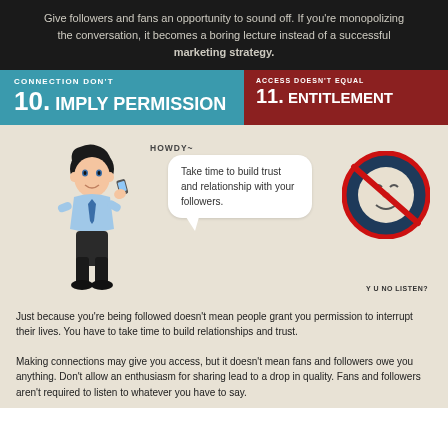Give followers and fans an opportunity to sound off. If you're monopolizing the conversation, it becomes a boring lecture instead of a successful marketing strategy.
10. CONNECTION DON'T IMPLY PERMISSION
11. ACCESS DOESN'T EQUAL ENTITLEMENT
[Figure (illustration): Cartoon man on phone saying HOWDY~ with speech bubble saying 'Take time to build trust and relationship with your followers.' Next to a no-sign circle with a face meme and text 'Y U NO LISTEN?']
Just because you're being followed doesn't mean people grant you permission to interrupt their lives. You have to take time to build relationships and trust.
Making connections may give you access, but it doesn't mean fans and followers owe you anything. Don't allow an enthusiasm for sharing lead to a drop in quality. Fans and followers aren't required to listen to whatever you have to say.